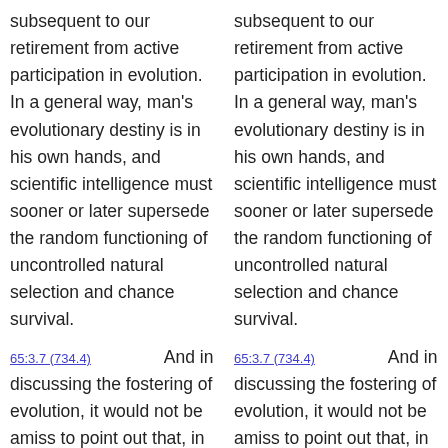subsequent to our retirement from active participation in evolution. In a general way, man's evolutionary destiny is in his own hands, and scientific intelligence must sooner or later supersede the random functioning of uncontrolled natural selection and chance survival.
65:3.7 (734.4)   And in discussing the fostering of evolution, it would not be amiss to point out that, in the long future ahead, when you may sometime be attached to a corps of Life Carriers, you will
subsequent to our retirement from active participation in evolution. In a general way, man's evolutionary destiny is in his own hands, and scientific intelligence must sooner or later supersede the random functioning of uncontrolled natural selection and chance survival.
65:3.7 (734.4)   And in discussing the fostering of evolution, it would not be amiss to point out that, in the long future ahead, when you may sometime be attached to a corps of Life Carriers, you will